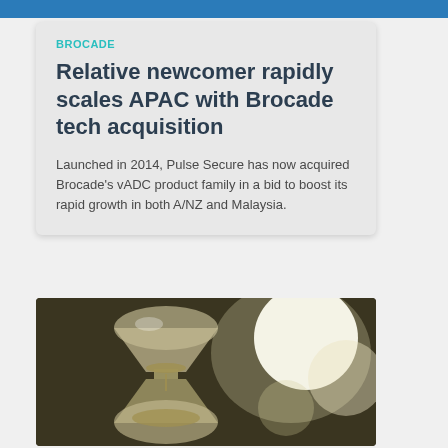BROCADE
Relative newcomer rapidly scales APAC with Brocade tech acquisition
Launched in 2014, Pulse Secure has now acquired Brocade's vADC product family in a bid to boost its rapid growth in both A/NZ and Malaysia.
[Figure (photo): Close-up photograph of an hourglass with a bright white circular light in the background, bokeh effect, warm olive/golden tones]